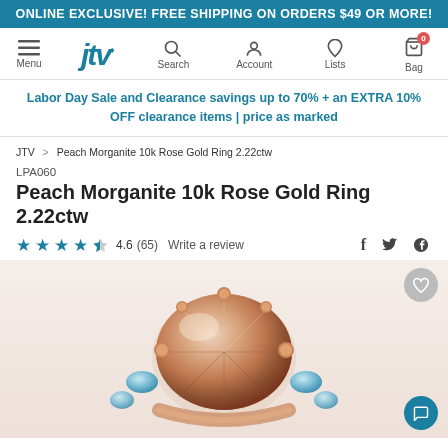ONLINE EXCLUSIVE! FREE SHIPPING ON ORDERS $49 OR MORE!
[Figure (screenshot): JTV navigation bar with menu icon, JTV logo, search, account, lists, and bag (with 0 badge) icons]
Labor Day Sale and Clearance savings up to 70% + an EXTRA 10% OFF clearance items | price as marked
JTV > Peach Morganite 10k Rose Gold Ring 2.22ctw
LPA060
Peach Morganite 10k Rose Gold Ring 2.22ctw
4.6 (65) Write a review
[Figure (photo): Close-up photograph of a Peach Morganite 10k Rose Gold Ring showing a large faceted peach/morganite oval center stone with smaller blue accent stones in a rose gold setting]